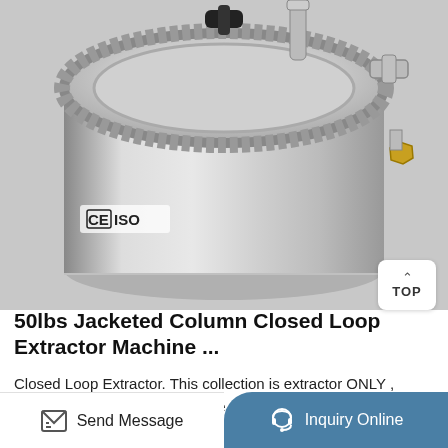[Figure (photo): Close-up photo of a stainless steel jacketed column closed loop extractor machine top, showing a circular clamp lid with CE and ISO certification markings and a brass fitting bolt visible on the side.]
50lbs Jacketed Column Closed Loop Extractor Machine ...
Closed Loop Extractor. This collection is extractor ONLY , without solvent tank . These are the basic top fill extractor style , from mini 45 gram to 1 pound, it's scaleable and you can buy extractor parts to upgrade them without wasting your
Send Message   Inquiry Online